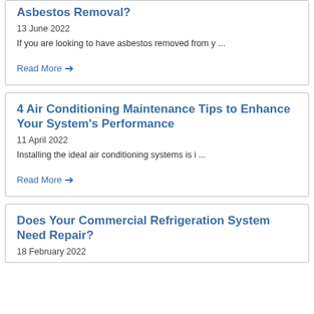Asbestos Removal?
13 June 2022
If you are looking to have asbestos removed from y ...
Read More →
4 Air Conditioning Maintenance Tips to Enhance Your System's Performance
11 April 2022
Installing the ideal air conditioning systems is i ...
Read More →
Does Your Commercial Refrigeration System Need Repair?
18 February 2022